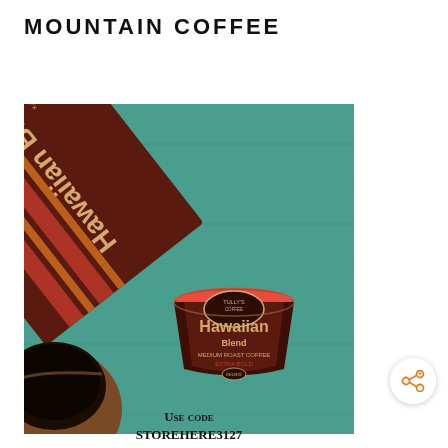MOUNTAIN COFFEE
[Figure (photo): Overhead photo on a teal/green wooden surface showing a Tully's Coffee Hawaiian Blend K-Cup box (dark brown with red and orange stripes), a single Tully's Hawaiian Blend K-Cup pod, and a ceramic mug of black coffee in the lower left corner.]
Use code
STOREHERE3127